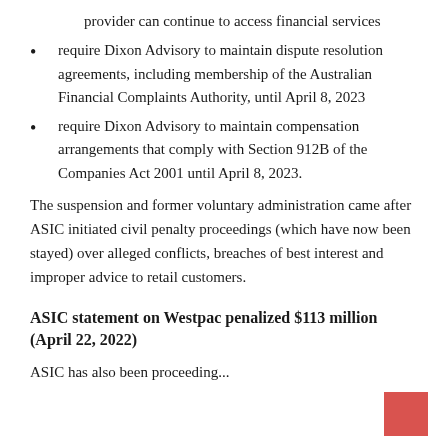provider can continue to access financial services
require Dixon Advisory to maintain dispute resolution agreements, including membership of the Australian Financial Complaints Authority, until April 8, 2023
require Dixon Advisory to maintain compensation arrangements that comply with Section 912B of the Companies Act 2001 until April 8, 2023.
The suspension and former voluntary administration came after ASIC initiated civil penalty proceedings (which have now been stayed) over alleged conflicts, breaches of best interest and improper advice to retail customers.
ASIC statement on Westpac penalized $113 million (April 22, 2022)
ASIC has also been proceeding...